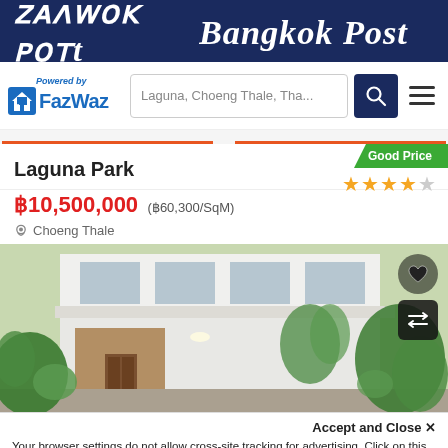Bangkok Post
[Figure (logo): Bangkok Post header logo with dark navy background and white gothic text]
[Figure (logo): FazWaz logo with house icon and 'Powered by FazWaz' text, search bar with 'Laguna, Choeng Thale, Tha...', search button, and hamburger menu]
Laguna Park
฿10,500,000 (฿60,300/SqM)
Choeng Thale
[Figure (photo): Property photo showing a modern white building with tropical plants and wooden door entrance]
Accept and Close ✕
Your browser settings do not allow cross-site tracking for advertising. Click on this page to allow AdRoll to use cross-site tracking to tailor ads to you. Learn more or opt out of this AdRoll tracking by clicking here. This message only appears once.